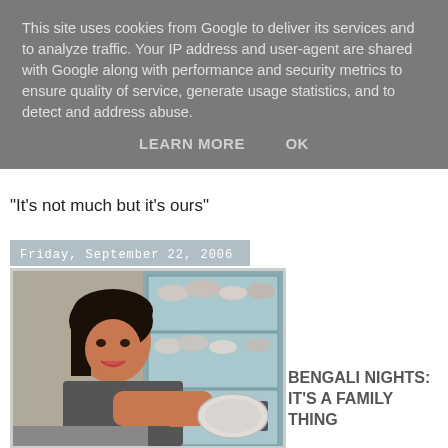This site uses cookies from Google to deliver its services and to analyze traffic. Your IP address and user-agent are shared with Google along with performance and security metrics to ensure quality of service, generate usage statistics, and to detect and address abuse.
LEARN MORE   OK
"It's not much but it's ours"
Friday, September 22, 2006
[Figure (photo): Woman smiling in a kitchen, holding a dish, with a blue cabinet stocked with bowls and dishes in the background]
BENGALI NIGHTS: IT'S A FAMILY THING